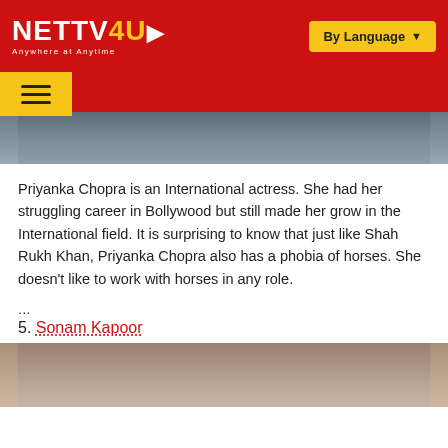NETTV4U — Anywhere at Anytime | By Language
[Figure (photo): Partial photo of a person wearing a dark jacket, cropped to show lower portion only]
Priyanka Chopra is an International actress. She had her struggling career in Bollywood but still made her grow in the International field. It is surprising to know that just like Shah Rukh Khan, Priyanka Chopra also has a phobia of horses. She doesn't like to work with horses in any role.
...
5. Sonam Kapoor
[Figure (photo): Partial photo of a woman with dark hair, cropped to show top of head and face, appears to be Sonam Kapoor]